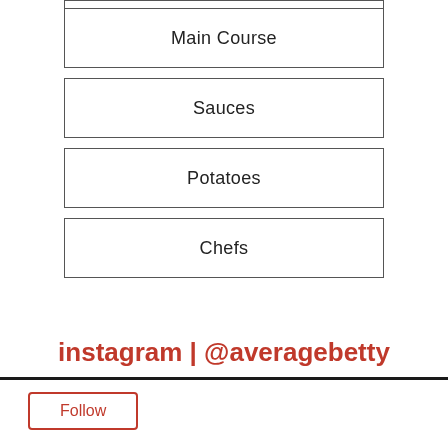Main Course
Sauces
Potatoes
Chefs
instagram | @averagebetty
Follow